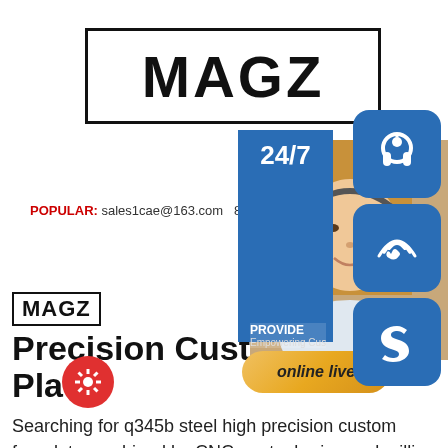[Figure (logo): MAGZ logo in large bordered box]
WORLD-CLASS SUPPLIER OF S MATERIAL
POPULAR:  sales1cae@163.com  86 371 861
[Figure (infographic): Right side banner with 24/7 text, person photo, headphone/phone/skype icons, PROVIDE Empowering Cu text, online live button]
[Figure (logo): Small MAGZ logo in bordered box]
Precision Custom P... Plate
Searching for q345b steel high precision custom f...plate machined by CNC gantry boring and milling machine for sale? Luoyang Yujie is one of